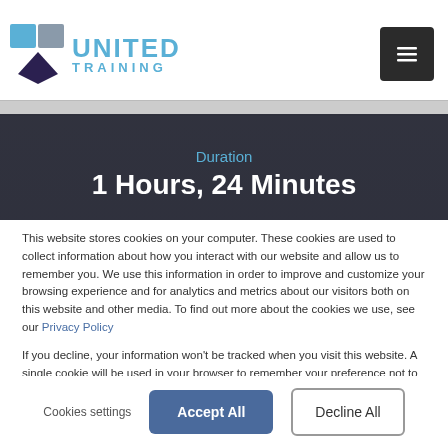[Figure (logo): United Training logo with diamond-shaped icon and blue text]
Duration
1 Hours, 24 Minutes
This website stores cookies on your computer. These cookies are used to collect information about how you interact with our website and allow us to remember you. We use this information in order to improve and customize your browsing experience and for analytics and metrics about our visitors both on this website and other media. To find out more about the cookies we use, see our Privacy Policy
If you decline, your information won't be tracked when you visit this website. A single cookie will be used in your browser to remember your preference not to be tracked.
Cookies settings  Accept All  Decline All